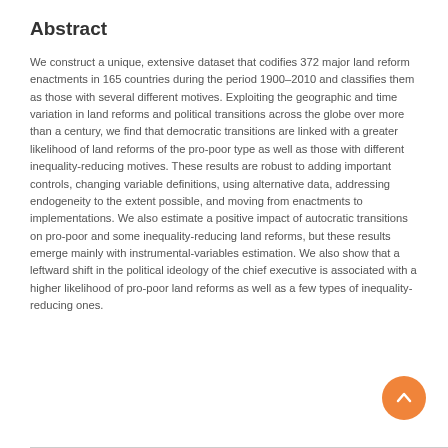Abstract
We construct a unique, extensive dataset that codifies 372 major land reform enactments in 165 countries during the period 1900–2010 and classifies them as those with several different motives. Exploiting the geographic and time variation in land reforms and political transitions across the globe over more than a century, we find that democratic transitions are linked with a greater likelihood of land reforms of the pro-poor type as well as those with different inequality-reducing motives. These results are robust to adding important controls, changing variable definitions, using alternative data, addressing endogeneity to the extent possible, and moving from enactments to implementations. We also estimate a positive impact of autocratic transitions on pro-poor and some inequality-reducing land reforms, but these results emerge mainly with instrumental-variables estimation. We also show that a leftward shift in the political ideology of the chief executive is associated with a higher likelihood of pro-poor land reforms as well as a few types of inequality-reducing ones.